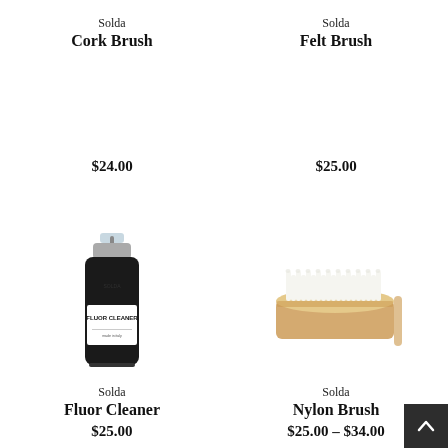Solda
Cork Brush
$24.00
Solda
Felt Brush
$25.00
[Figure (photo): Solda Fluor Cleaner black spray bottle with clear pump top, labeled FLUOR CLEANER]
Solda
Fluor Cleaner
$25.00
[Figure (photo): Solda Nylon Brush, a rectangular wooden brush with white nylon bristles on top]
Solda
Nylon Brush
$25.00 - $34.00